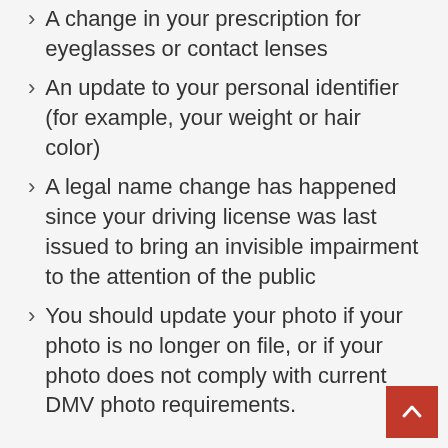A change in your prescription for eyeglasses or contact lenses
An update to your personal identifier (for example, your weight or hair color)
A legal name change has happened since your driving license was last issued to bring an invisible impairment to the attention of the public
You should update your photo if your photo is no longer on file, or if your photo does not comply with current DMV photo requirements.
You are interested in obtaining your first-ever REAL ID-compliant driving